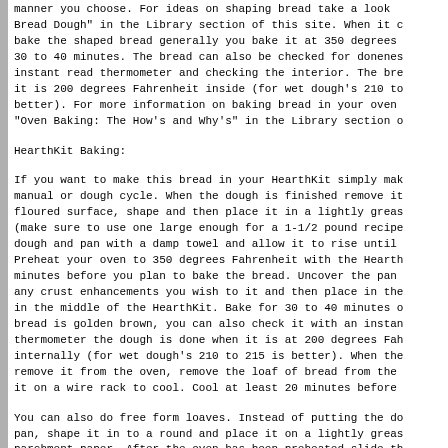manner you choose. For ideas on shaping bread take a look at "Shaping Bread Dough" in the Library section of this site. When it comes time to bake the shaped bread generally you bake it at 350 degrees Fahrenheit for 30 to 40 minutes. The bread can also be checked for doneness using an instant read thermometer and checking the interior. The bread is done when it is 200 degrees Fahrenheit inside (for wet dough's 210 to 215 is better). For more information on baking bread in your oven take a look at "Oven Baking: The How's and Why's" in the Library section of this site.
HearthKit Baking:
If you want to make this bread in your HearthKit simply make it on the manual or dough cycle. When the dough is finished remove it to a lightly floured surface, shape and then place it in a lightly greased bread pan (make sure to use one large enough for a 1-1/2 pound recipe). Cover the dough and pan with a damp towel and allow it to rise until doubled. Preheat your oven to 350 degrees Fahrenheit with the HearthKit inside 30 minutes before you plan to bake the bread. Uncover the pan and apply any crust enhancements you wish to it and then place in the oven, centered in the middle of the HearthKit. Bake for 30 to 40 minutes or until the bread is golden brown, you can also check it with an instant read thermometer the dough is done when it is at 200 degrees Fahrenheit internally (for wet dough's 210 to 215 is better). When the bread is done remove it from the oven, remove the loaf of bread from the pan and place it on a wire rack to cool. Cool at least 20 minutes before slicing.
You can also do free form loaves. Instead of putting the dough in a pan, shape it in to a round and place it on a lightly greased piece of parchment paper. After the oven has been preheated slide the dough on the parchment and all in to the center of the HearthKit and bake for 30 to 40 minutes or until the bread is golden brown, you can also check it with an instant read thermometer the dough is done when it is at 200